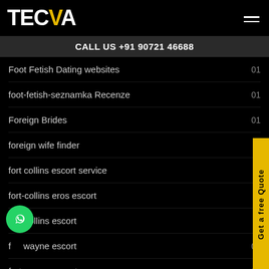TECVA
CALL US +91 90721 46688
Foot Fetish Dating websites  01
foot-fetish-seznamka Recenze  01
Foreign Brides  01
foreign wife finder
fort collins escort service
fort-collins eros escort
fort-collins escort
fort wayne escort  01
fort-wayne escort near me  01
Fort wayne  01